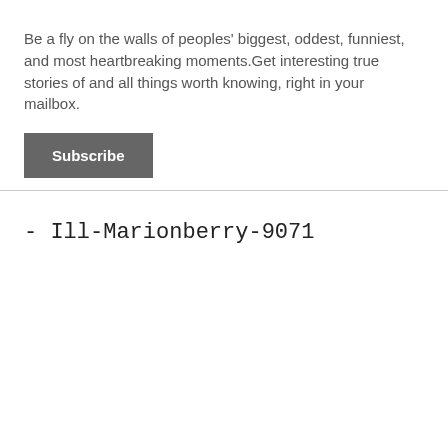Be a fly on the walls of peoples' biggest, oddest, funniest, and most heartbreaking moments.Get interesting true stories of and all things worth knowing, right in your mailbox.
Subscribe
- Ill-Marionberry-9071